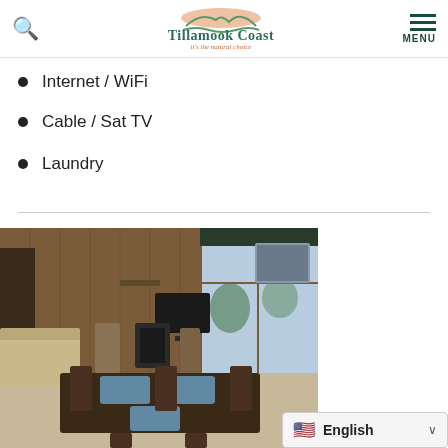Tillamook Coast - it's the natural choice
Internet / WiFi
Cable / Sat TV
Laundry
[Figure (photo): Interior of a vacation rental showing a living/dining area with a dark wood dining table and chairs with blue placemats, sofas, TV, fireplace, and large windows with natural light.]